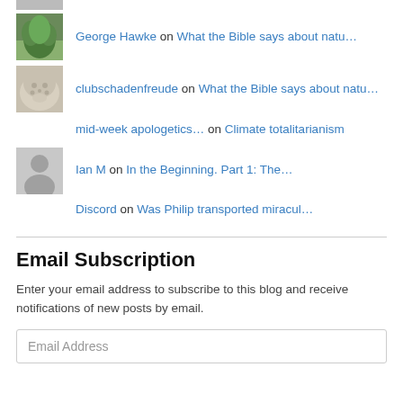George Hawke on What the Bible says about natu…
clubschadenfreude on What the Bible says about natu…
mid-week apologetics… on Climate totalitarianism
Ian M on In the Beginning. Part 1: The…
Discord on Was Philip transported miracul…
Email Subscription
Enter your email address to subscribe to this blog and receive notifications of new posts by email.
Email Address